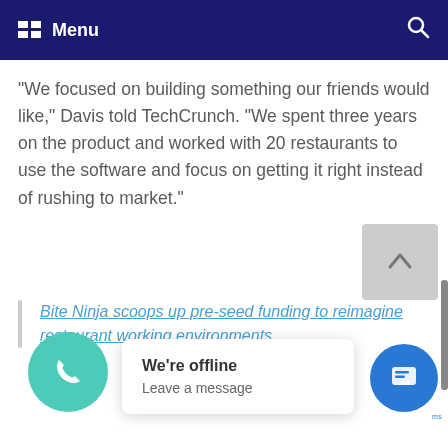Menu
“We focused on building something our friends would like,” Davis told TechCrunch. “We spent three years on the product and worked with 20 restaurants to use the software and focus on getting it right instead of rushing to market.”
Bite Ninja scoops up pre-seed funding to reimagine restaurant working environments
We’re offline
Leave a message